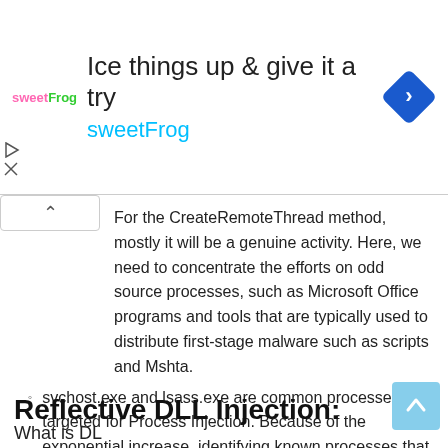[Figure (other): Advertisement banner for sweetFrog frozen yogurt: headline 'Ice things up & give it a try', subheading 'sweetFrog' in cyan, logo on left, navigation icon on right]
For the CreateRemoteThread method, mostly it will be a genuine activity. Here, we need to concentrate the efforts on odd source processes, such as Microsoft Office programs and tools that are typically used to distribute first-stage malware such as scripts and Mshta.
svchost.exe and lsass.exe are common processes targeted for Process Injection. Because of the exponential increase, identifying known processes that may execute code can help to limit the number of false positives.
Reflective DLL Injection:
What is DLL...